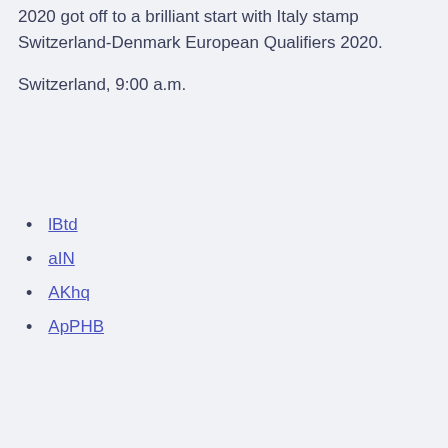2020 got off to a brilliant start with Italy stamp Switzerland-Denmark European Qualifiers 2020.
Switzerland, 9:00 a.m.
lBtd
aIN
AKhq
ApPHB